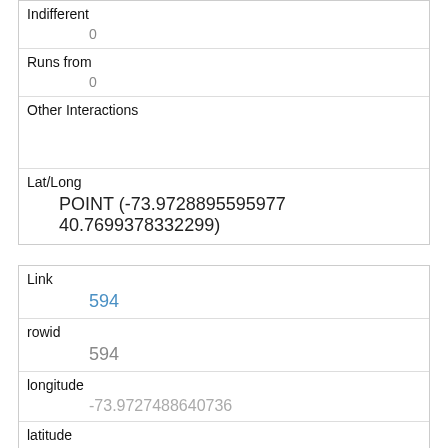| Indifferent | 0 |
| Runs from | 0 |
| Other Interactions |  |
| Lat/Long | POINT (-73.9728895595977 40.7699378332299) |
| Link | 594 |
| rowid | 594 |
| longitude | -73.9727488640736 |
| latitude | 40.7781916780621 |
| Unique Squirrel ID | 14B-PM-1014-06 |
| Hectare | 14B |